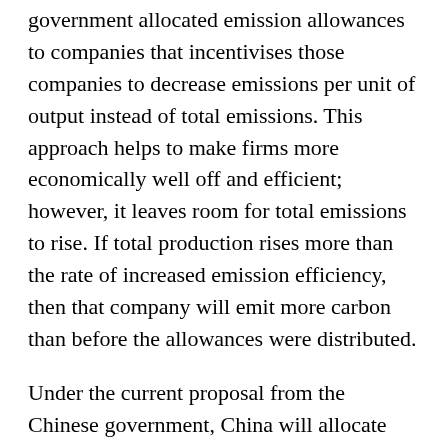government allocated emission allowances to companies that incentivises those companies to decrease emissions per unit of output instead of total emissions. This approach helps to make firms more economically well off and efficient; however, it leaves room for total emissions to rise. If total production rises more than the rate of increased emission efficiency, then that company will emit more carbon than before the allowances were distributed.
Under the current proposal from the Chinese government, China will allocate nearly twice the amount of emission allowances than the EU ETS. Furthermore, the data from the pilot cities has shown that the price per ton to emit carbon is around $5 in China. Compared to the $23 per ton in the EU ETS, the problem of carbon leakage arises, which is when